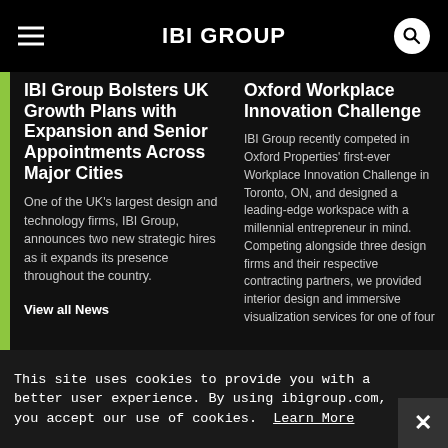IBI GROUP
IBI Group Bolsters UK Growth Plans with Expansion and Senior Appointments Across Major Cities
One of the UK's largest design and technology firms, IBI Group, announces two new strategic hires as it expands its presence throughout the country.
View all News
Oxford Workplace Innovation Challenge
IBI Group recently competed in Oxford Properties' first-ever Workplace Innovation Challenge in Toronto, ON, and designed a leading-edge workspace with a millennial entrepreneur in mind. Competing alongside three design firms and their respective contracting partners, we provided interior design and immersive visualization services for one of four
This site uses cookies to provide you with a better user experience. By using ibigroup.com, you accept our use of cookies. Learn More